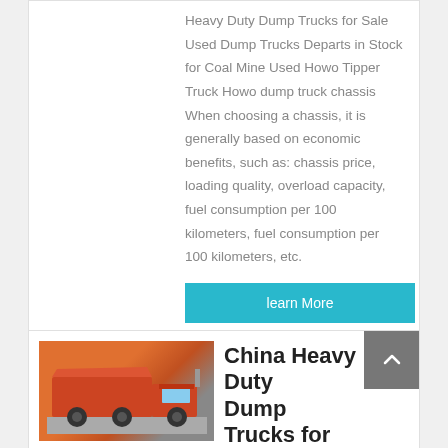Heavy Duty Dump Trucks for Sale Used Dump Trucks Departs in Stock for Coal Mine Used Howo Tipper Truck Howo dump truck chassis When choosing a chassis, it is generally based on economic benefits, such as: chassis price, loading quality, overload capacity, fuel consumption per 100 kilometers, fuel consumption per 100 kilometers, etc.
learn More
[Figure (photo): Orange/red heavy duty dump truck parked on road]
China Heavy Duty Dump Trucks for Sale